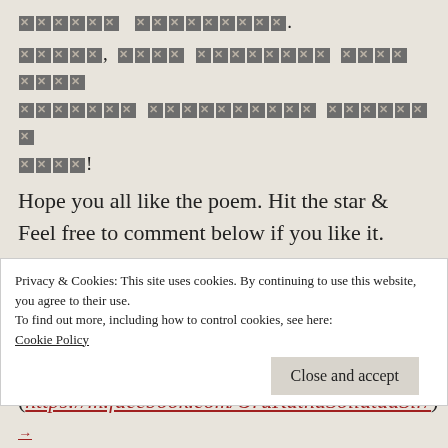[redacted] [redacted].
[redacted], [redacted] [redacted] [redacted] [redacted] [redacted] [redacted] [redacted]!
Hope you all like the poem. Hit the star & Feel free to comment below if you like it.
For poem & story updates, do follow mightypenarticles in Instagram. (https://www.instagram.com/mightypenarticles)
Facebook Page : Mighty Pen -Articles- (https://m.facebook.com/OruKathaSollataaSir/)
Privacy & Cookies: This site uses cookies. By continuing to use this website, you agree to their use.
To find out more, including how to control cookies, see here: Cookie Policy
Close and accept